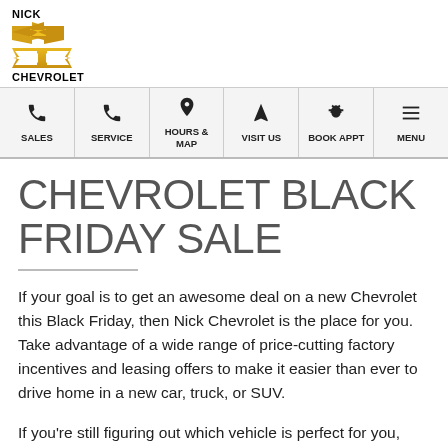[Figure (logo): Nick Chevrolet logo with bowtie emblem]
SALES | SERVICE | HOURS & MAP | VISIT US | BOOK APPT | MENU
CHEVROLET BLACK FRIDAY SALE
If your goal is to get an awesome deal on a new Chevrolet this Black Friday, then Nick Chevrolet is the place for you. Take advantage of a wide range of price-cutting factory incentives and leasing offers to make it easier than ever to drive home in a new car, truck, or SUV.
If you're still figuring out which vehicle is perfect for you, stop by our TARENTUM Chevrolet dealership and speak to a member our expert sales staff. After we assist you with